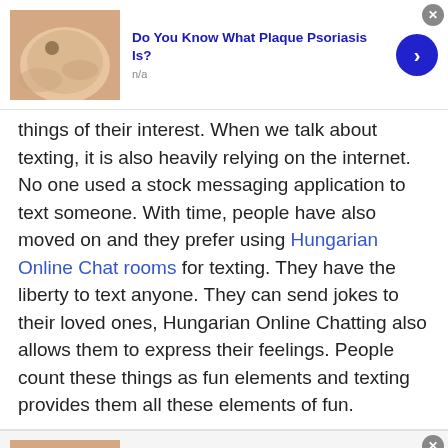[Figure (screenshot): Advertisement banner with skin/hand image, title 'Do You Know What Plaque Psoriasis Is?', subtitle 'n/a', blue arrow button, and close X button]
things of their interest. When we talk about texting, it is also heavily relying on the internet. No one used a stock messaging application to text someone. With time, people have also moved on and they prefer using Hungarian Online Chat rooms for texting. They have the liberty to text anyone. They can send jokes to their loved ones, Hungarian Online Chatting also allows them to express their feelings. People count these things as fun elements and texting provides them all these elements of fun.
[Figure (screenshot): Second advertisement banner with skin/hand image, title 'Do You Know What Plaque Psoriasis Is?', subtitle 'n/a', blue arrow button, and close X button]